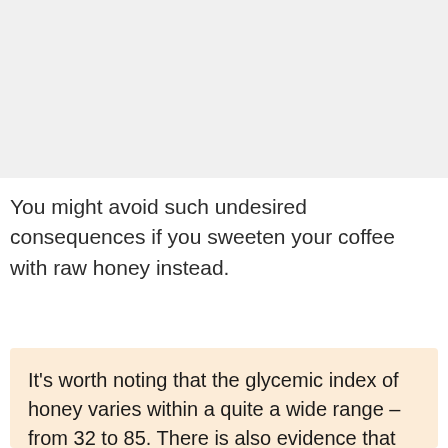[Figure (photo): Image placeholder at top of page (content not visible)]
You might avoid such undesired consequences if you sweeten your coffee with raw honey instead.
It's worth noting that the glycemic index of honey varies within a quite a wide range – from 32 to 85. There is also evidence that honey with higher